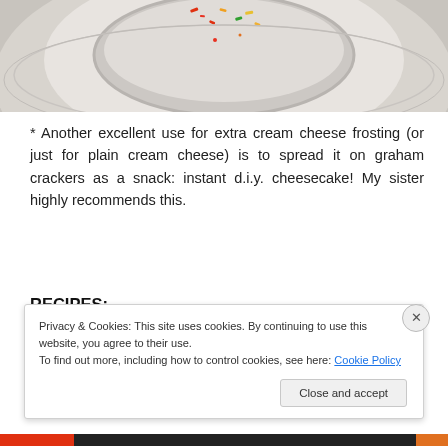[Figure (photo): Top portion of a photo showing a bowl with colorful sprinkles or toppings, on a light/grey background, partially cropped]
* Another excellent use for extra cream cheese frosting (or just for plain cream cheese) is to spread it on graham crackers as a snack: instant d.i.y. cheesecake! My sister highly recommends this.
RECIPES:
Cream Cheese Frosting
Privacy & Cookies: This site uses cookies. By continuing to use this website, you agree to their use.
To find out more, including how to control cookies, see here: Cookie Policy
Close and accept